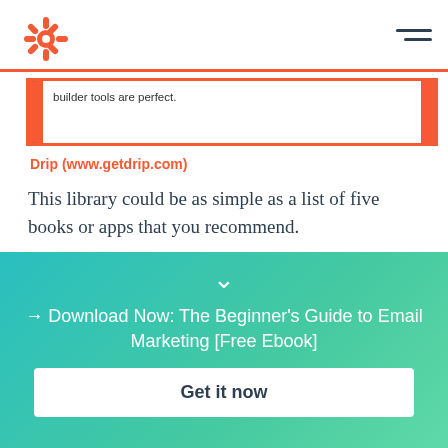HubSpot
builder tools are perfect.
Drip (www.getdrip.com)
This library could be as simple as a list of five books or apps that you recommend.
What resources could you recommend to a potential customer that would help them to achieve better
[Figure (infographic): Teal gradient CTA section with chevron down arrow, promotional text and white button]
→ Download Now: The Beginner's Guide to Email Marketing [Free Ebook]
Get it now